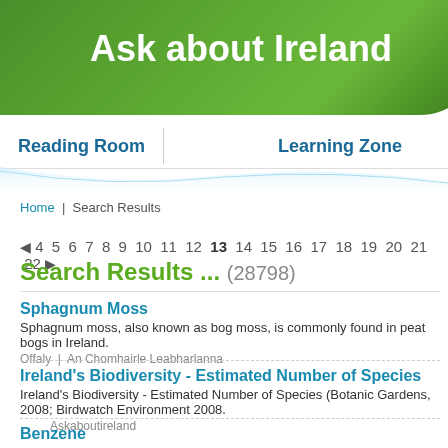Ask about Ireland
Reading Room
Learning Zone
Home | Search Results
◄ 4 5 6 7 8 9 10 11 12 13 14 15 16 17 18 19 20 21 22 ►
Search Results ... (28798)
Sphagnum Moss
Sphagnum moss, also known as bog moss, is commonly found in peat bogs in Ireland.
Offaly | An Chomhairle Leabharlanna
Ireland's Biodiversity - Estimated Number of Species
Ireland's Biodiversity - Estimated Number of Species (Botanic Gardens, 2008; Birdwatch Environment 2008.
Askaboutireland
Benzene
Benzene causes cancer and so is a dangerous chemical Long term exposure to benzene red blood cells and can lead to leukaemia Benzene is a hydrocarbon.